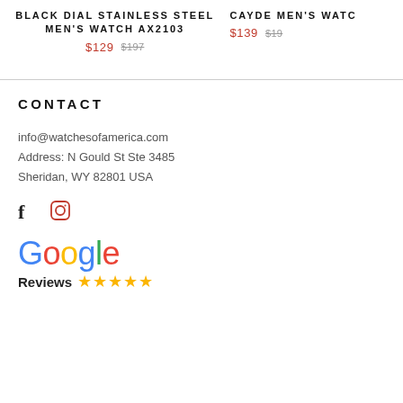BLACK DIAL STAINLESS STEEL MEN'S WATCH AX2103
$129  $197
CAYDE MEN'S WATCH
$139  $19...
CONTACT
info@watchesofamerica.com
Address: N Gould St Ste 3485
Sheridan, WY 82801 USA
[Figure (logo): Facebook icon (f) and Instagram icon]
[Figure (logo): Google Reviews logo with 5 stars]